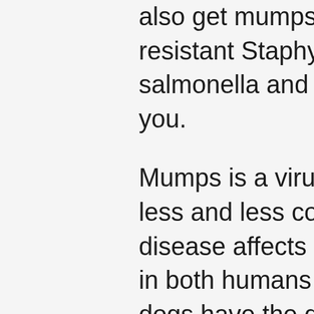disruptions. Your pets can also get mumps, Methicillin-resistant Staphylococcus aureus, salmonella and tuberculosis from you.
Mumps is a virus that is becoming less and less common. This disease affects the salivary glands in both humans and dogs. When dogs have the disease, it is actually called parotiditis. Common symptoms include a fever, swelling below the ear and a lack of appetite.
MRSA, often called staph infection, is an infection that is resistant to many